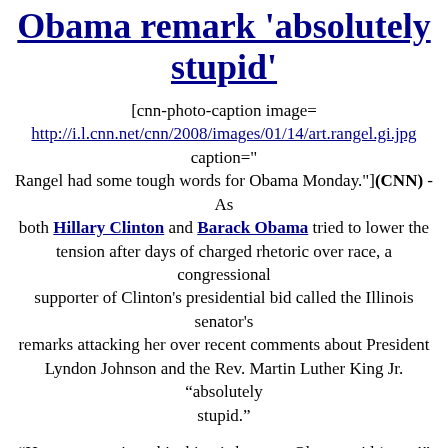Obama remark 'absolutely stupid'
[cnn-photo-caption image= http://i.l.cnn.net/cnn/2008/images/01/14/art.rangel.gi.jpg caption=" Rangel had some tough words for Obama Monday."](CNN) - As both Hillary Clinton and Barack Obama tried to lower the tension after days of charged rhetoric over race, a congressional supporter of Clinton's presidential bid called the Illinois senator's remarks attacking her over recent comments about President Lyndon Johnson and the Rev. Martin Luther King Jr. “absolutely stupid.”
"How race got into this thing is because Obama said ‘race,’" New York Rep. Charlie Rangel, one of the highest-ranking African-Americans in Congress, said in an interview on NY1.
“But there is nothing that Hillary Clinton has said that baffles me. I would challenge anybody to belittle the contribution that Dr. King has made to the world, to our country, to civil rights, and the Voting Rights Act,” said Rangel. “But for him to suggest that Dr. King could have signed that act is absolutely stupid. It's absolutely dumb to infer that Doctor King, alone, passed the legislation and